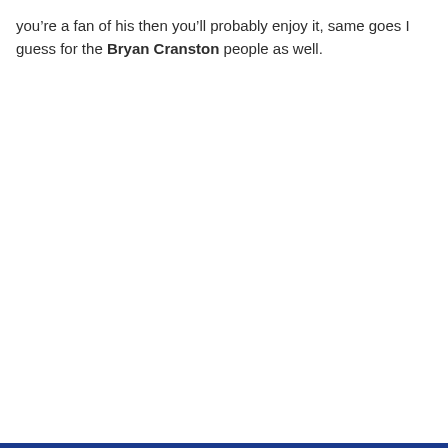you're a fan of his then you'll probably enjoy it, same goes I guess for the Bryan Cranston people as well.